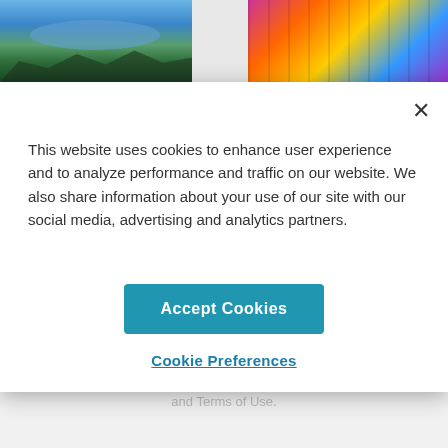[Figure (screenshot): Website screenshot showing a cookie consent modal overlay on top of a travel/lifestyle website. Two photos visible at top (mountain lake scene on left, colorful indoor scene on right). A white modal dialog contains cookie consent text, an 'Accept Cookies' button, and a 'Cookie Preferences' link. Below the modal, a partially visible pink CTA button, advertisement label, and terms of use text are shown.]
This website uses cookies to enhance user experience and to analyze performance and traffic on our website. We also share information about your use of our site with our social media, advertising and analytics partners.
Accept Cookies
Cookie Preferences
ADVERTISEMENT
By proceeding, you agree to our Privacy Policy and Terms of Use.